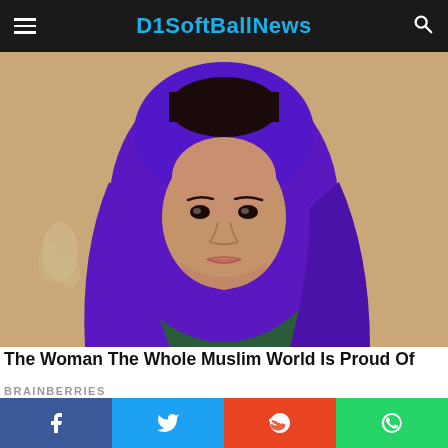D1SoftballNews
[Figure (photo): A young woman wearing a purple hijab, facing the camera, against a warm beige/sandy background. She has dark eyes and dark hair partially visible under the hijab. She appears to be wearing a dark green garment.]
The Woman The Whole Muslim World Is Proud Of
BRAINBERRIES
[Figure (photo): Partial view of a dark/black image, appears to be the top of another article image below.]
Facebook Twitter Reddit WhatsApp social share buttons